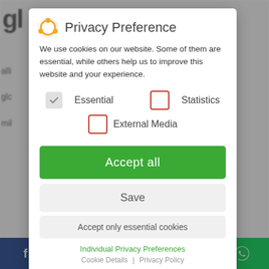Privacy Preference
We use cookies on our website. Some of them are essential, while others help us to improve this website and your experience.
✓ Essential
☐ Statistics
☐ External Media
Accept all
Save
Accept only essential cookies
Individual Privacy Preferences
Cookie Details | Privacy Policy